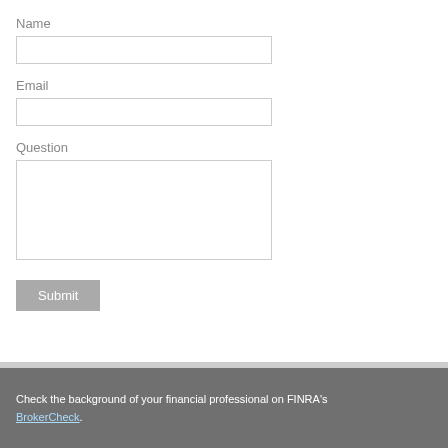Name
Email
Question
Submit
Check the background of your financial professional on FINRA's BrokerCheck.